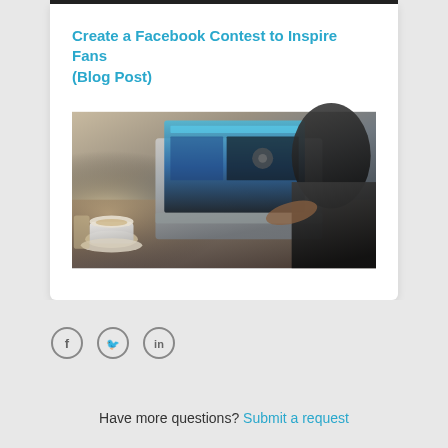Create a Facebook Contest to Inspire Fans (Blog Post)
[Figure (photo): A person sitting at a wooden table working on a laptop showing a Facebook page, with a coffee cup and glass on the table.]
[Figure (other): Social media share icons: Facebook (f), Twitter (bird), LinkedIn (in)]
Have more questions? Submit a request